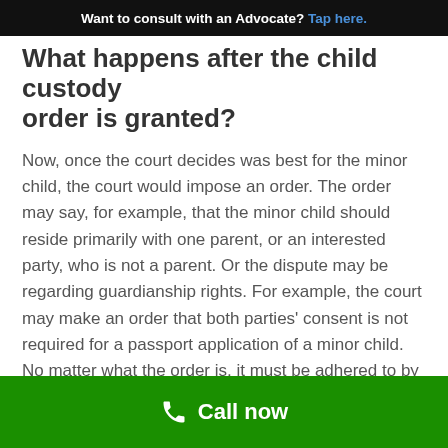Want to consult with an Advocate? Tap here.
What happens after the child custody order is granted?
Now, once the court decides was best for the minor child, the court would impose an order. The order may say, for example, that the minor child should reside primarily with one parent, or an interested party, who is not a parent. Or the dispute may be regarding guardianship rights. For example, the court may make an order that both parties' consent is not required for a passport application of a minor child. No matter what the order is, it must be adhered to by all the parties concerned.
Call now